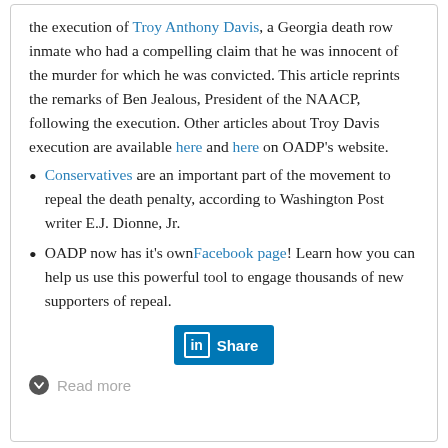the execution of Troy Anthony Davis, a Georgia death row inmate who had a compelling claim that he was innocent of the murder for which he was convicted. This article reprints the remarks of Ben Jealous, President of the NAACP, following the execution. Other articles about Troy Davis execution are available here and here on OADP's website.
Conservatives are an important part of the movement to repeal the death penalty, according to Washington Post writer E.J. Dionne, Jr.
OADP now has it's own Facebook page! Learn how you can help us use this powerful tool to engage thousands of new supporters of repeal.
[Figure (other): LinkedIn Share button]
Read more